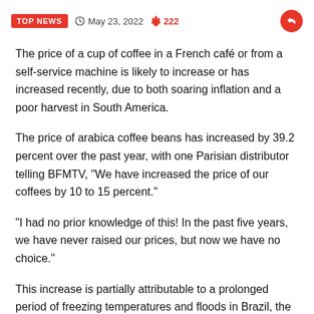TOP NEWS  May 23, 2022  222
The price of a cup of coffee in a French café or from a self-service machine is likely to increase or has increased recently, due to both soaring inflation and a poor harvest in South America.
The price of arabica coffee beans has increased by 39.2 percent over the past year, with one Parisian distributor telling BFMTV, "We have increased the price of our coffees by 10 to 15 percent."
"I had no prior knowledge of this! In the past five years, we have never raised our prices, but now we have no choice."
This increase is partially attributable to a prolonged period of freezing temperatures and floods in Brazil, the world's largest coffee producer, which destroyed up to 30 percent of the coffee bean harvest in some regions.